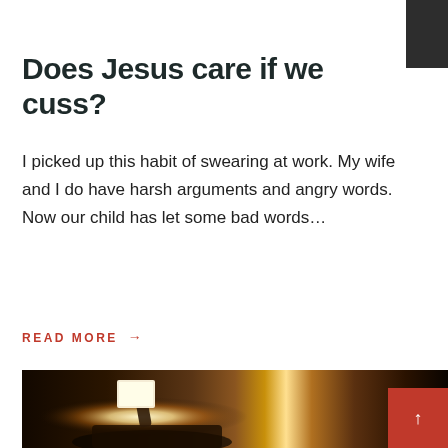Does Jesus care if we cuss?
I picked up this habit of swearing at work. My wife and I do have harsh arguments and angry words. Now our child has let some bad words…
READ MORE →
[Figure (photo): A person lying on their back in a dark room, holding a glowing book or phone above their face, illuminating the ceiling with warm orange-yellow light, creating dramatic shadows.]